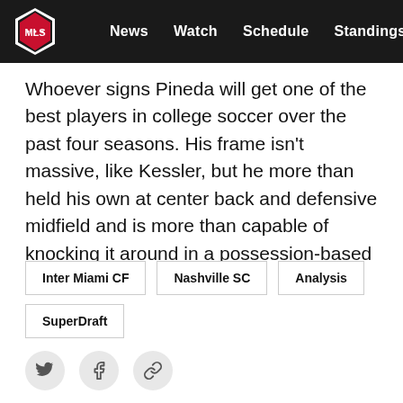MLS | News  Watch  Schedule  Standings  ...
Whoever signs Pineda will get one of the best players in college soccer over the past four seasons. His frame isn't massive, like Kessler, but he more than held his own at center back and defensive midfield and is more than capable of knocking it around in a possession-based system.
Inter Miami CF
Nashville SC
Analysis
SuperDraft